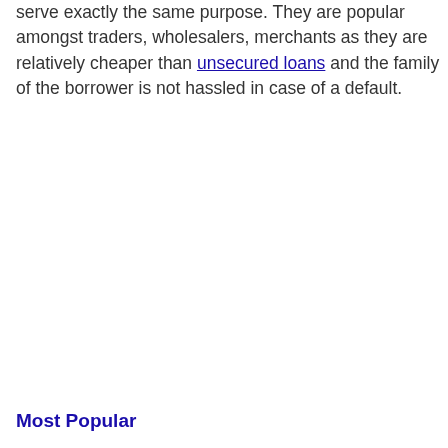serve exactly the same purpose. They are popular amongst traders, wholesalers, merchants as they are relatively cheaper than unsecured loans and the family of the borrower is not hassled in case of a default.
Most Popular